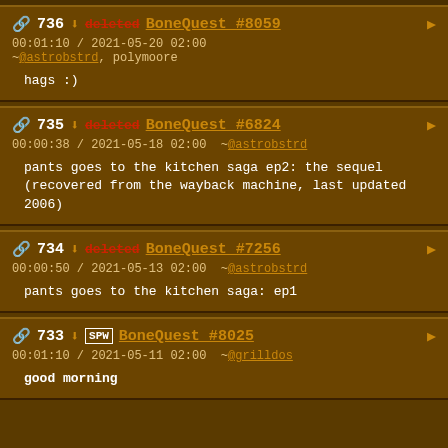736 BoneQuest #8059 00:01:10 / 2021-05-20 02:00 ~@astrobstrd, polymoore hags :)
735 BoneQuest #6824 00:00:38 / 2021-05-18 02:00 ~@astrobstrd pants goes to the kitchen saga ep2: the sequel (recovered from the wayback machine, last updated 2006)
734 BoneQuest #7256 00:00:50 / 2021-05-13 02:00 ~@astrobstrd pants goes to the kitchen saga: ep1
733 SPW BoneQuest #8025 00:01:10 / 2021-05-11 02:00 ~@grilldos good morning